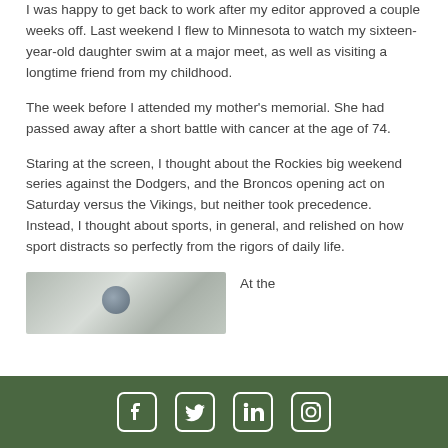I was happy to get back to work after my editor approved a couple weeks off.  Last weekend I flew to Minnesota to watch my sixteen-year-old daughter swim at a major meet, as well as visiting a longtime friend from my childhood.
The week before I attended my mother's memorial.  She had passed away after a short battle with cancer at the age of 74.
Staring at the screen, I thought about the Rockies big weekend series against the Dodgers, and the Broncos opening act on Saturday versus the Vikings, but neither took precedence.  Instead, I thought about sports, in general, and relished on how sport distracts so perfectly from the rigors of daily life.
[Figure (photo): Partial photo of what appears to be a sports scene, cropped at bottom of page]
At the
Social media icons: Facebook, Twitter, LinkedIn, Instagram